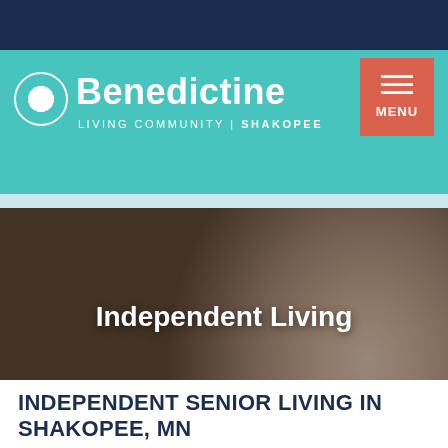[Figure (logo): Benedictine Living Community Shakopee logo with teal cross icon and white text on teal background, with a salmon/coral MENU button top right]
[Figure (photo): Hero image of an elderly woman with glasses laughing, overlaid with 'Independent Living' title text in white]
INDEPENDENT SENIOR LIVING IN SHAKOPEE, MN